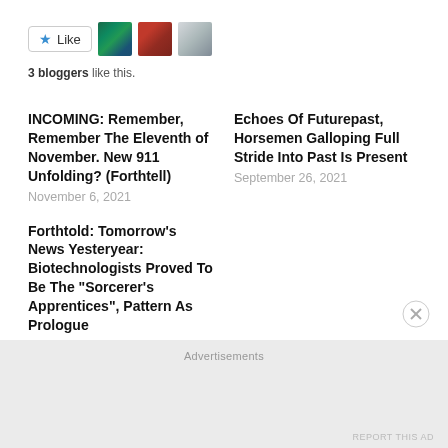[Figure (other): Like button with star icon and three blogger avatar thumbnails (peacock, motorcycle, person face)]
3 bloggers like this.
INCOMING: Remember, Remember The Eleventh of November. New 911 Unfolding? (Forthtell)
November 6, 2021
Echoes Of Futurepast, Horsemen Galloping Full Stride Into Past Is Present
September 26, 2021
Forthtold: Tomorrow's News Yesteryear: Biotechnologists Proved To Be The "Sorcerer's Apprentices", Pattern As Prologue
October 31, 2021
Advertisements
REPORT THIS AD